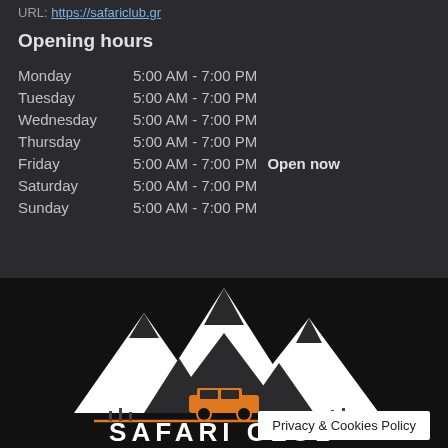URL: https://safariclub.gr
Opening hours
| Day | Hours | Status |
| --- | --- | --- |
| Monday | 5:00 AM - 7:00 PM |  |
| Tuesday | 5:00 AM - 7:00 PM |  |
| Wednesday | 5:00 AM - 7:00 PM |  |
| Thursday | 5:00 AM - 7:00 PM |  |
| Friday | 5:00 AM - 7:00 PM | Open now |
| Saturday | 5:00 AM - 7:00 PM |  |
| Sunday | 5:00 AM - 7:00 PM |  |
[Figure (logo): Safari Club logo with white mountain peaks and orange vehicle silhouette, text SAFARI CLUB in white letters on black background]
Privacy & Cookies Policy